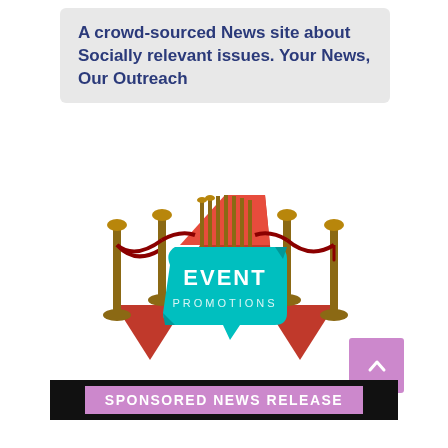A crowd-sourced News site about Socially relevant issues. Your News, Our Outreach
[Figure (illustration): Event Promotions graphic: red carpet with velvet rope stanchions and a teal speech bubble saying EVENT PROMOTIONS]
[Figure (other): Purple scroll-to-top button with upward chevron arrow]
SPONSORED NEWS RELEASE